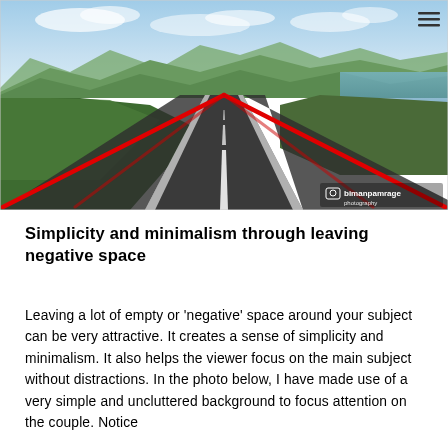[Figure (photo): A straight road receding to the horizon with red lines overlaid to show converging perspective lines (leading lines compositional technique). Green vegetation on both sides, mountains and sky in background. Watermark 'bimanpamrage photography' in bottom right corner.]
Simplicity and minimalism through leaving negative space
Leaving a lot of empty or 'negative' space around your subject can be very attractive. It creates a sense of simplicity and minimalism. It also helps the viewer focus on the main subject without distractions. In the photo below, I have made use of a very simple and uncluttered background to focus attention on the couple. Notice